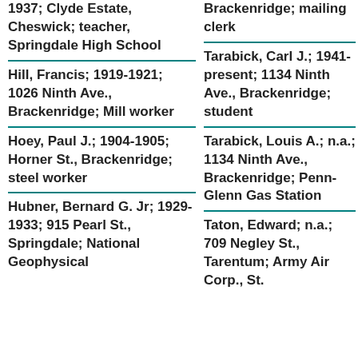1937; Clyde Estate, Cheswick; teacher, Springdale High School
Brackenridge; mailing clerk
Hill, Francis; 1919-1921; 1026 Ninth Ave., Brackenridge; Mill worker
Tarabick, Carl J.; 1941-present; 1134 Ninth Ave., Brackenridge; student
Hoey, Paul J.; 1904-1905; Horner St., Brackenridge; steel worker
Tarabick, Louis A.; n.a.; 1134 Ninth Ave., Brackenridge; Penn-Glenn Gas Station
Hubner, Bernard G. Jr; 1929-1933; 915 Pearl St., Springdale; National Geophysical
Taton, Edward; n.a.; 709 Negley St., Tarentum; Army Air Corp., St.